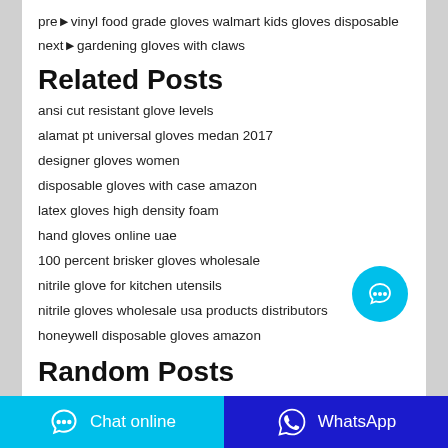prev vinyl food grade gloves walmart kids gloves disposable next gardening gloves with claws
Related Posts
ansi cut resistant glove levels
alamat pt universal gloves medan 2017
designer gloves women
disposable gloves with case amazon
latex gloves high density foam
hand gloves online uae
100 percent brisker gloves wholesale
nitrile glove for kitchen utensils
nitrile gloves wholesale usa products distributors
honeywell disposable gloves amazon
Random Posts
disposable nonwoven body washing gloves sewing pattern
can you reuse surgical gloves made in usa
Chat online
WhatsApp